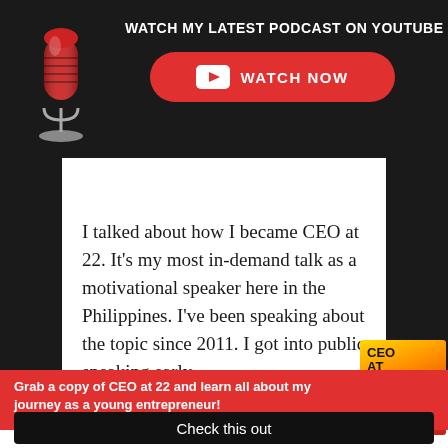WATCH MY LATEST PODCAST ON YOUTUBE
[Figure (other): Red WATCH NOW button with YouTube icon on dark background]
I talked about how I became CEO at 22. It's my most in-demand talk as a motivational speaker here in the Philippines. I've been speaking about the topic since 2011. I got into public speaking early.
Grab a copy of CEO at 22 and learn all about my journey as a young entrepreneur!
Check this out